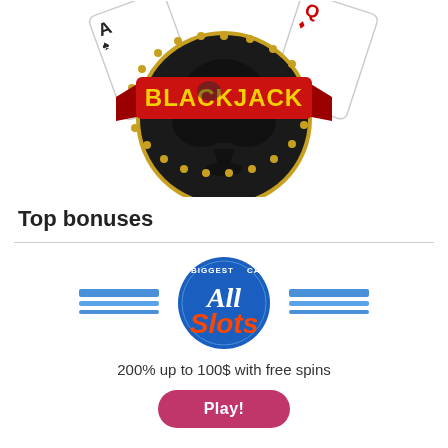[Figure (illustration): Blackjack casino logo: a large black spade symbol with a gold border, overlaid with a red ribbon banner reading 'BLACKJACK' in bold yellow letters, with playing cards fanned behind it]
Top bonuses
[Figure (logo): All Slots Casino logo: circular blue badge with 'BIGGEST CASINO' text around the edge, 'All' in black script and 'Slots' in red stylized font, with blue horizontal stripes on either side]
200% up to 100$ with free spins
Play!